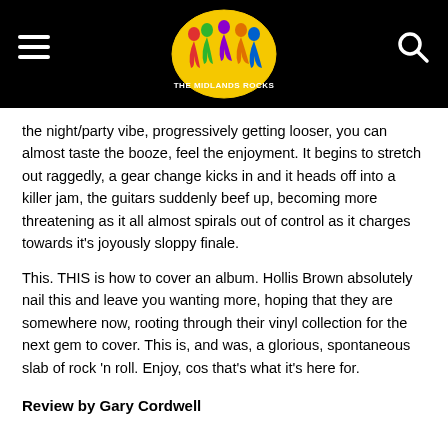THE MIDLANDS ROCKS
the night/party vibe, progressively getting looser, you can almost taste the booze, feel the enjoyment. It begins to stretch out raggedly, a gear change kicks in and it heads off into a killer jam, the guitars suddenly beef up, becoming more threatening as it all almost spirals out of control as it charges towards it's joyously sloppy finale.
This. THIS is how to cover an album. Hollis Brown absolutely nail this and leave you wanting more, hoping that they are somewhere now, rooting through their vinyl collection for the next gem to cover. This is, and was, a glorious, spontaneous slab of rock 'n roll. Enjoy, cos that's what it's here for.
Review by Gary Cordwell